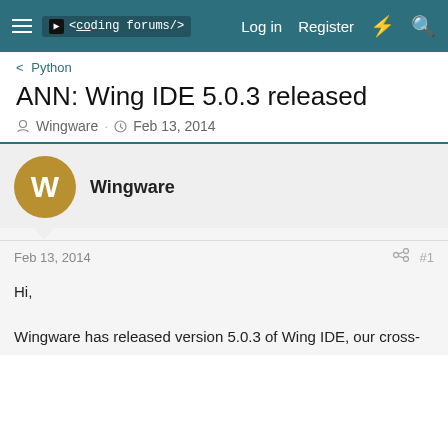≡  <coding forums/>    Log in   Register   ⚡  🔍
< Python
ANN: Wing IDE 5.0.3 released
Wingware · Feb 13, 2014
Wingware
Feb 13, 2014   #1
Hi,

Wingware has released version 5.0.3 of Wing IDE, our cross-